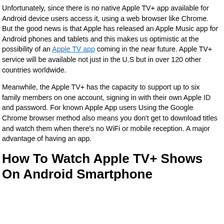Unfortunately, since there is no native Apple TV+ app available for Android device users access it, using a web browser like Chrome. But the good news is that Apple has released an Apple Music app for Android phones and tablets and this makes us optimistic at the possibility of an Apple TV app coming in the near future. Apple TV+ service will be available not just in the U.S but in over 120 other countries worldwide.
Meanwhile, the Apple TV+ has the capacity to support up to six family members on one account, signing in with their own Apple ID and password. For known Apple App users Using the Google Chrome browser method also means you don't get to download titles and watch them when there's no WiFi or mobile reception. A major advantage of having an app.
How To Watch Apple TV+ Shows On Android Smartphone